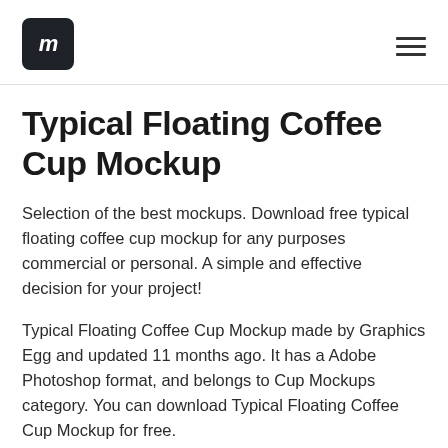im (logo) | hamburger menu
Typical Floating Coffee Cup Mockup
Selection of the best mockups. Download free typical floating coffee cup mockup for any purposes commercial or personal. A simple and effective decision for your project!
Typical Floating Coffee Cup Mockup made by Graphics Egg and updated 11 months ago. It has a Adobe Photoshop format, and belongs to Cup Mockups category. You can download Typical Floating Coffee Cup Mockup for free.